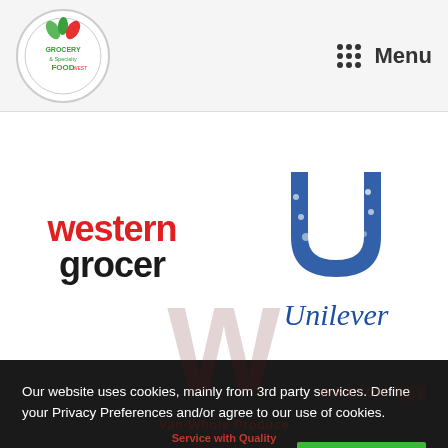Grocery & Specialty Food West — Menu
[Figure (logo): Western Grocer logo — 'western' in red bold italic, 'grocer' in black bold]
[Figure (logo): Unilever logo — decorative blue U shape with floral pattern, 'Unilever' in blue italic below]
Our website uses cookies, mainly from 3rd party services. Define your Privacy Preferences and/or agree to our use of cookies.
Privacy Preferences
I Agree
[Figure (logo): Van-Whole Produce — Service with Quality (partially visible at bottom)]